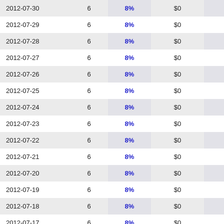| 2012-07-30 | 6 | 8% | $0 | -- |
| 2012-07-29 | 6 | 8% | $0 | -- |
| 2012-07-28 | 6 | 8% | $0 | -- |
| 2012-07-27 | 6 | 8% | $0 | -- |
| 2012-07-26 | 6 | 8% | $0 | -- |
| 2012-07-25 | 6 | 8% | $0 | -- |
| 2012-07-24 | 6 | 8% | $0 | -- |
| 2012-07-23 | 6 | 8% | $0 | -- |
| 2012-07-22 | 6 | 8% | $0 | -- |
| 2012-07-21 | 6 | 8% | $0 | -- |
| 2012-07-20 | 6 | 8% | $0 | -- |
| 2012-07-19 | 6 | 8% | $0 | -- |
| 2012-07-18 | 6 | 8% | $0 | -- |
| 2012-07-17 | 6 | 8% | $0 | -- |
| 2012-07-16 | 6 | 8% | $0 | -- |
| 2012-07-15 | 6 | 8% | $0 | -- |